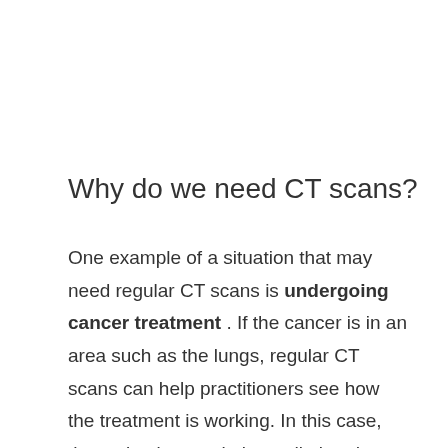Why do we need CT scans?
One example of a situation that may need regular CT scans is undergoing cancer treatment . If the cancer is in an area such as the lungs, regular CT scans can help practitioners see how the treatment is working. In this case, the patient's cumulative radiation dose increases.